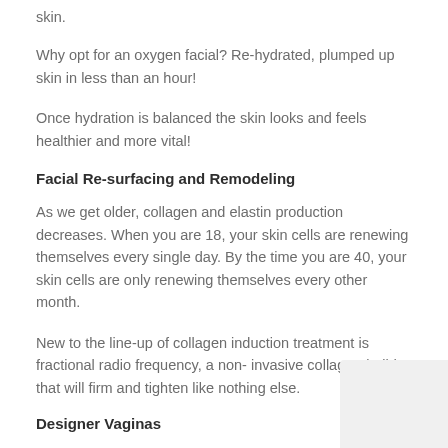skin.
Why opt for an oxygen facial? Re-hydrated, plumped up skin in less than an hour!
Once hydration is balanced the skin looks and feels healthier and more vital!
Facial Re-surfacing and Remodeling
As we get older, collagen and elastin production decreases. When you are 18, your skin cells are renewing themselves every single day. By the time you are 40, your skin cells are only renewing themselves every other month.
New to the line-up of collagen induction treatment is fractional radio frequency, a non- invasive collagen-builder that will firm and tighten like nothing else.
Designer Vaginas